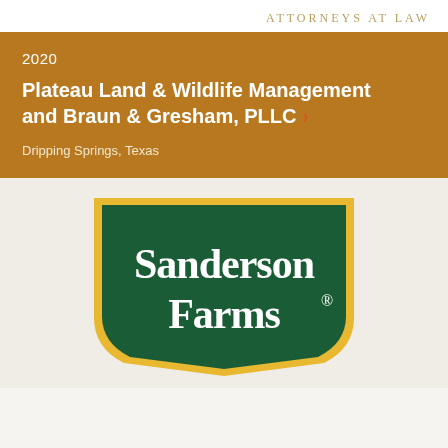ATTORNEYS AT LAW
2020
Plateau Land & Wildlife Management and Braun & Gresham, PLLC
Dripping Springs, Texas
[Figure (logo): Sanderson Farms logo — green shield-shaped badge with gold border, white serif text reading 'Sanderson Farms' with registered trademark symbol]